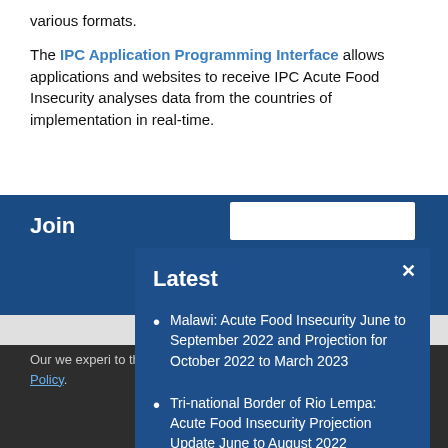various formats.
The IPC Application Programming Interface allows applications and websites to receive IPC Acute Food Insecurity analyses data from the countries of implementation in real-time.
Join
Latest
Malawi: Acute Food Insecurity June to September 2022 and Projection for October 2022 to March 2023
Tri-national Border of Rio Lempa: Acute Food Insecurity Projection Update June to August 2022
Our we experi to this use of Privacy Policy.
OK